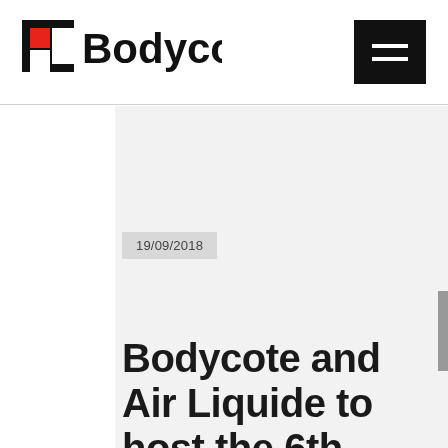[Figure (logo): Bodycote logo with red square icon and bold black 'Bodycote' wordmark]
[Figure (illustration): Black hamburger menu button with three white horizontal bars]
19/09/2018
Bodycote and Air Liquide to host the 6th Bodycote/Air Liquide seminar